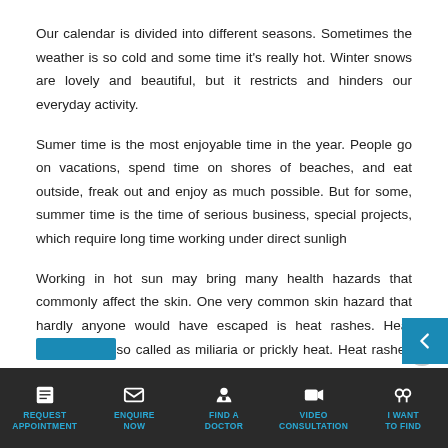Our calendar is divided into different seasons. Sometimes the weather is so cold and some time it's really hot. Winter snows are lovely and beautiful, but it restricts and hinders our everyday activity.
Sumer time is the most enjoyable time in the year. People go on vacations, spend time on shores of beaches, and eat outside, freak out and enjoy as much possible. But for some, summer time is the time of serious business, special projects, which require long time working under direct sunlight.
Working in hot sun may bring many health hazards that commonly affect the skin. One very common skin hazard that hardly anyone would have escaped is heat rashes. Heat rashes are also called as miliaria or prickly heat. Heat rashes are very common in babies, but it is also occurs commonly in adults.
REQUEST APPOINTMENT | ENQUIRE NOW | FIND A DOCTOR | VIDEO CONSULTATION | I WANT TO FIND